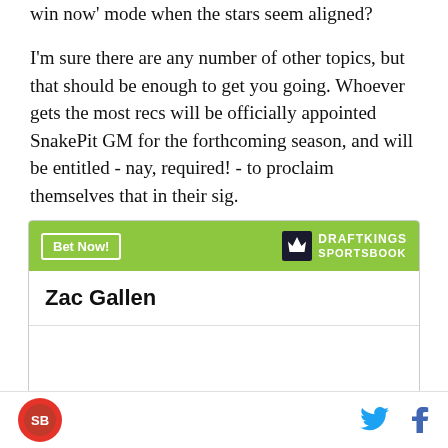win now' mode when the stars seem aligned?
I'm sure there are any number of other topics, but that should be enough to get you going. Whoever gets the most recs will be officially appointed SnakePit GM for the forthcoming season, and will be entitled - nay, required! - to proclaim themselves that in their sig.
[Figure (other): DraftKings Sportsbook betting widget showing Zac Gallen with odds 'To win NL Cy Young: +10000']